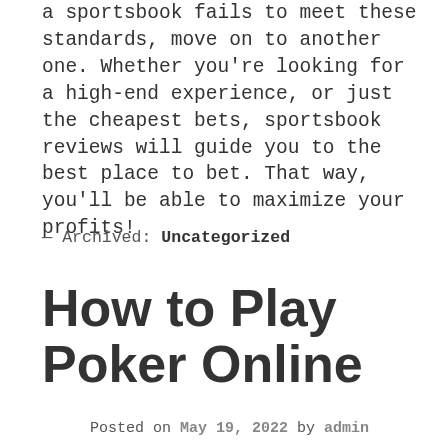a sportsbook fails to meet these standards, move on to another one. Whether you're looking for a high-end experience, or just the cheapest bets, sportsbook reviews will guide you to the best place to bet. That way, you'll be able to maximize your profits!
— Archived: Uncategorized
How to Play Poker Online
Posted on May 19, 2022 by admin